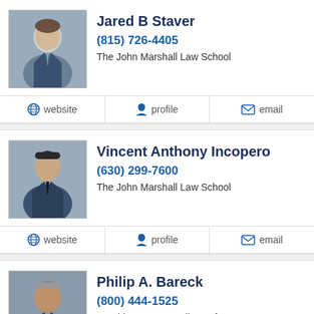[Figure (photo): Headshot of Jared B Staver, a man in a suit and tie]
Jared B Staver
(815) 726-4405
The John Marshall Law School
website | profile | email
[Figure (photo): Headshot of Vincent Anthony Incopero, a young man in a suit]
Vincent Anthony Incopero
(630) 299-7600
The John Marshall Law School
website | profile | email
[Figure (photo): Headshot of Philip A. Bareck, an older man]
Philip A. Bareck
(800) 444-1525
IIT Chicago-Kent College of Law
website | profile | email